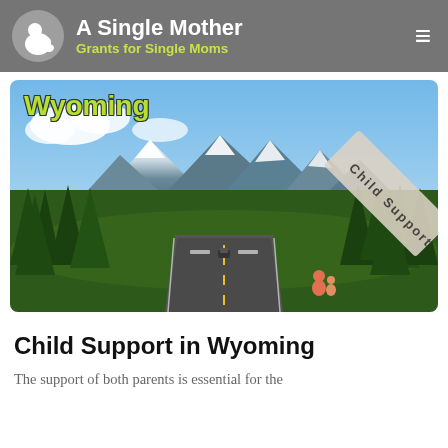A Single Mother — Grants for Single Moms
[Figure (photo): Scenic Wyoming highway stretching into the distance with snow-capped mountains and pine trees. Text overlay reads 'Wyoming' in green bold font and 'Child Support' on a diagonal banner with a family icon.]
Child Support in Wyoming
The support of both parents is essential for the